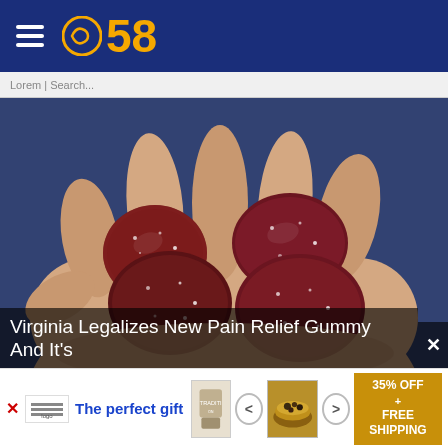CBS 58
Lorem | Search...
[Figure (photo): A hand holding several dark red sugar-coated gummy candies against a blurred blue background]
Virginia Legalizes New Pain Relief Gummy And It's
[Figure (infographic): Advertisement banner: 'The perfect gift' with product images and '35% OFF + FREE SHIPPING' promotion]